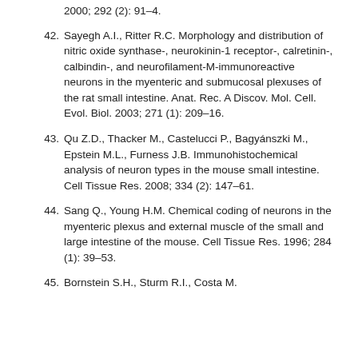2000; 292 (2): 91–4.
42. Sayegh A.I., Ritter R.C. Morphology and distribution of nitric oxide synthase-, neurokinin-1 receptor-, calretinin-, calbindin-, and neurofilament-M-immunoreactive neurons in the myenteric and submucosal plexuses of the rat small intestine. Anat. Rec. A Discov. Mol. Cell. Evol. Biol. 2003; 271 (1): 209–16.
43. Qu Z.D., Thacker M., Castelucci P., Bagyánszki M., Epstein M.L., Furness J.B. Immunohistochemical analysis of neuron types in the mouse small intestine. Cell Tissue Res. 2008; 334 (2): 147–61.
44. Sang Q., Young H.M. Chemical coding of neurons in the myenteric plexus and external muscle of the small and large intestine of the mouse. Cell Tissue Res. 1996; 284 (1): 39–53.
45. Bornstein S.H., Sturm R.I., Costa M. ...